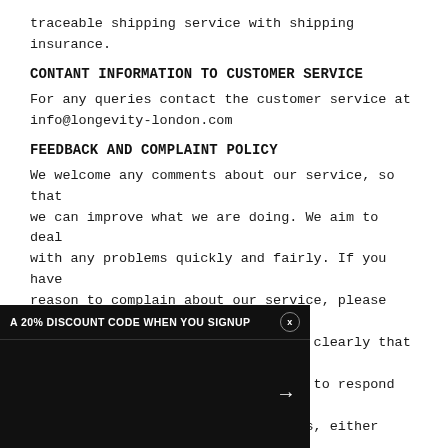traceable shipping service with shipping insurance.
CONTANT INFORMATION TO CUSTOMER SERVICE
For any queries contact the customer service at info@longevity-london.com
FEEDBACK AND COMPLAINT POLICY
We welcome any comments about our service, so that we can improve what we are doing. We aim to deal with any problems quickly and fairly. If you have reason to complain about our service, please email our Customer Services Team stating clearly that you are making a complaint. Our aim is to respond to your complaint within a few working days, either resolving esolution.
[Figure (screenshot): Dark popup banner at the bottom left showing 'A 20% DISCOUNT CODE WHEN YOU SIGNUP' with a close button (x) and an arrow pointing right on a black background input area.]